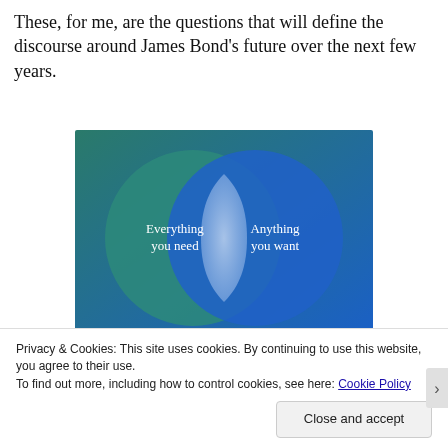These, for me, are the questions that will define the discourse around James Bond's future over the next few years.
[Figure (infographic): Venn diagram with two overlapping circles on a teal-to-blue gradient background. Left circle labeled 'Everything you need', right circle labeled 'Anything you want'. The overlapping area appears lighter/white.]
Privacy & Cookies: This site uses cookies. By continuing to use this website, you agree to their use.
To find out more, including how to control cookies, see here: Cookie Policy